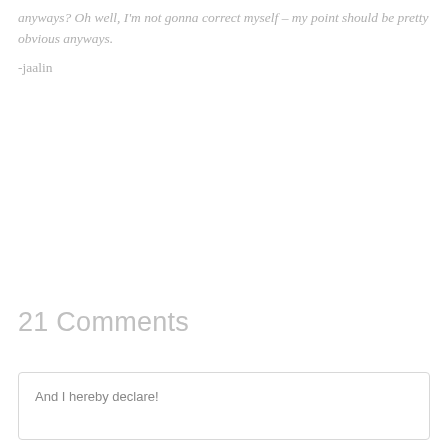anyways? Oh well, I'm not gonna correct myself – my point should be pretty obvious anyways.
-jaalin
21 Comments
And I hereby declare!